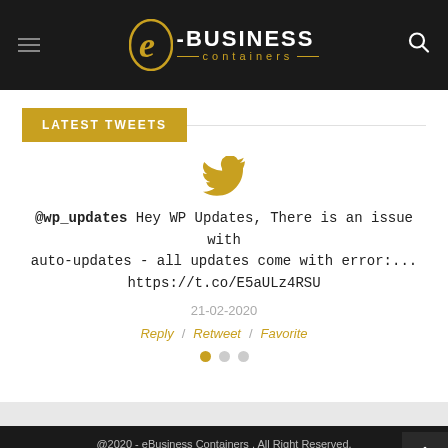e-BUSINESS containers
LATEST TWEETS
[Figure (illustration): Twitter bird icon in golden/amber color]
@wp_updates Hey WP Updates, There is an issue with auto-updates - all updates come with error:... https://t.co/E5aULz4RSU
21-02-2020
Reply / Retweet / Favorite
@2020 - eBusiness Containers . All Right Reserved.
Get In Touch.